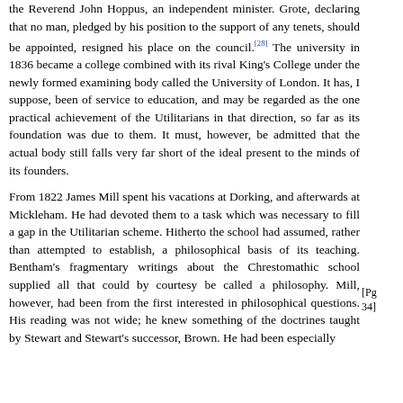the Reverend John Hoppus, an independent minister. Grote, declaring that no man, pledged by his position to the support of any tenets, should be appointed, resigned his place on the council.[28] The university in 1836 became a college combined with its rival King's College under the newly formed examining body called the University of London. It has, I suppose, been of service to education, and may be regarded as the one practical achievement of the Utilitarians in that direction, so far as its foundation was due to them. It must, however, be admitted that the actual body still falls very far short of the ideal present to the minds of its founders.
From 1822 James Mill spent his vacations at Dorking, and afterwards at Mickleham. He had devoted them to a task which was necessary to fill a gap in the Utilitarian scheme. Hitherto the school had assumed, rather than attempted to establish, a philosophical basis of its teaching. Bentham's fragmentary writings about the Chrestomathic school supplied all that could by courtesy be called a philosophy. Mill, however, had been from the first interested in philosophical questions. His reading was not wide; he knew something of the doctrines taught by Stewart and Stewart's successor, Brown. He had been especially
[Pg 34]